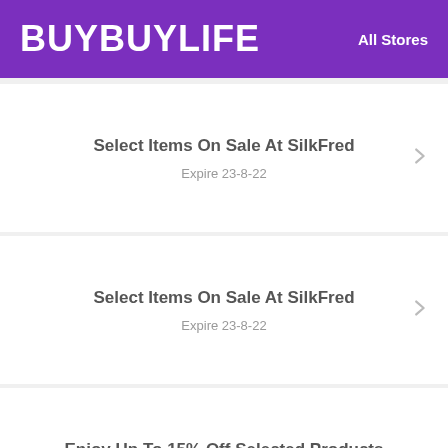BUYBUYLIFE  All Stores
Select Items On Sale At SilkFred
Expire 23-8-22
Select Items On Sale At SilkFred
Expire 23-8-22
Enjoy Up To 15% Off Selected Products
Expire 22-8-22